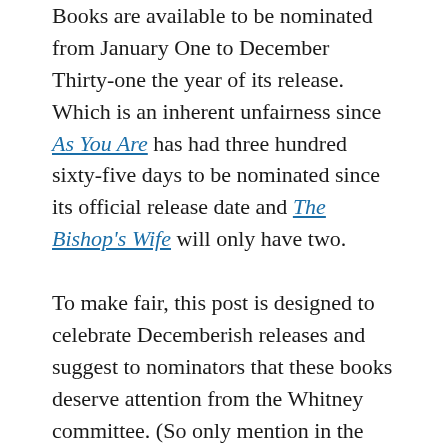Books are available to be nominated from January One to December Thirty-one the year of its release. Which is an inherent unfairness since As You Are has had three hundred sixty-five days to be nominated since its official release date and The Bishop's Wife will only have two.
To make fair, this post is designed to celebrate Decemberish releases and suggest to nominators that these books deserve attention from the Whitney committee. (So only mention in the comments books likely deserving of such attention.)
Here are three to get us started. I'll periodically update this post to include your suggestions: